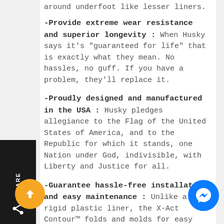around underfoot like lesser liners.
-Provide extreme wear resistance and superior longevity : When Husky says it's "guaranteed for life" that is exactly what they mean. No hassles, no guff. If you have a problem, they'll replace it.
-Proudly designed and manufactured in the USA : Husky pledges allegiance to the Flag of the United States of America, and to the Republic for which it stands, one Nation under God, indivisible, with Liberty and Justice for all.
-Guarantee hassle-free installation and easy maintenance : Unlike a rigid plastic liner, the X-Act Contour™ folds and molds for easy install, removal and cleaning. Just yank, dump, spray and repeat.